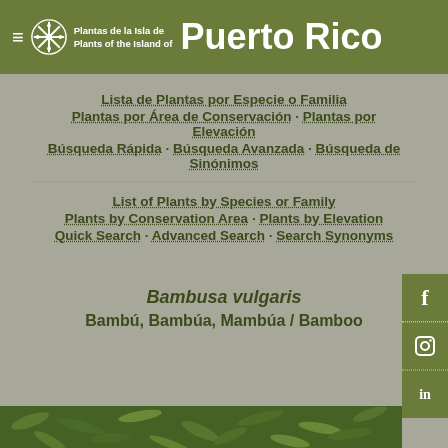Plantas de la Isla de / Plants of the Island of Puerto Rico
Lista de Plantas por Especie o Familia
Plantas por Área de Conservación · Plantas por Elevación
Búsqueda Rápida · Búsqueda Avanzada · Búsqueda de Sinónimos
List of Plants by Species or Family
Plants by Conservation Area · Plants by Elevation
Quick Search · Advanced Search · Search Synonyms
Bambusa vulgaris
Bambú, Bambúa, Mambúa / Bamboo
[Figure (photo): Bottom strip showing bamboo/plant foliage background image]